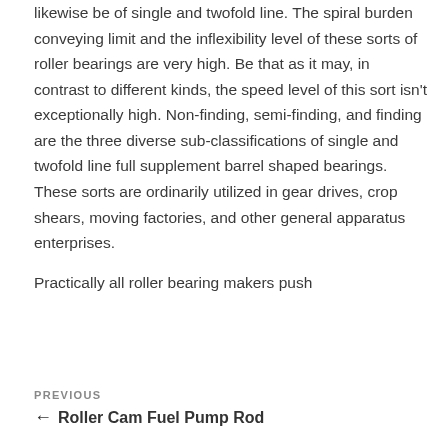likewise be of single and twofold line. The spiral burden conveying limit and the inflexibility level of these sorts of roller bearings are very high. Be that as it may, in contrast to different kinds, the speed level of this sort isn't exceptionally high. Non-finding, semi-finding, and finding are the three diverse sub-classifications of single and twofold line full supplement barrel shaped bearings. These sorts are ordinarily utilized in gear drives, crop shears, moving factories, and other general apparatus enterprises.
Practically all roller bearing makers push
PREVIOUS ← Roller Cam Fuel Pump Rod